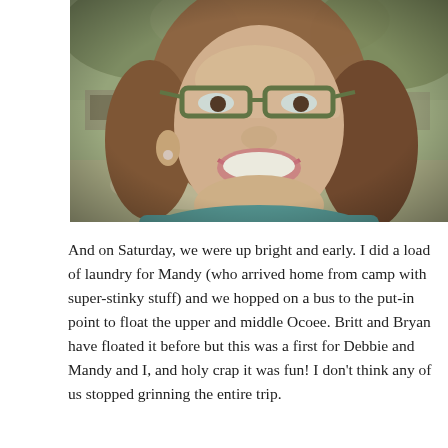[Figure (photo): Close-up photo of a smiling woman with brown hair, wearing green-framed glasses and a teal shirt, outdoors with trees in the background.]
And on Saturday, we were up bright and early. I did a load of laundry for Mandy (who arrived home from camp with super-stinky stuff) and we hopped on a bus to the put-in point to float the upper and middle Ocoee. Britt and Bryan have floated it before but this was a first for Debbie and Mandy and I, and holy crap it was fun! I don't think any of us stopped grinning the entire trip.